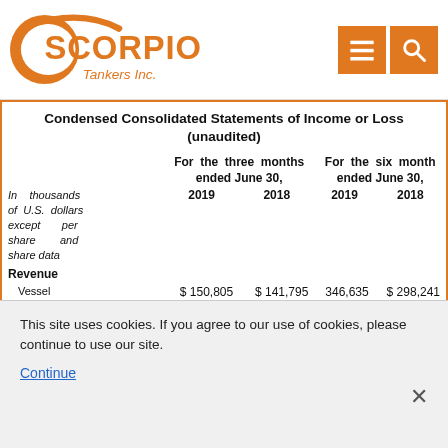Scorpio Tankers Inc. — navigation header with logo and menu/search icons
Condensed Consolidated Statements of Income or Loss (unaudited)
|  | For the three months ended June 30, 2019 | For the three months ended June 30, 2018 | For the six months ended June 30, 2019 | For the six months ended June 30, 2018 |
| --- | --- | --- | --- | --- |
| In thousands of U.S. dollars except per share and share data | 2019 | 2018 | 2019 | 2018 |
| Revenue |  |  |  |  |
| Vessel | $ 150,805 | $ 141,795 | 346,635 | $ 298,241 |
This site uses cookies. If you agree to our use of cookies, please continue to use our site.
Continue